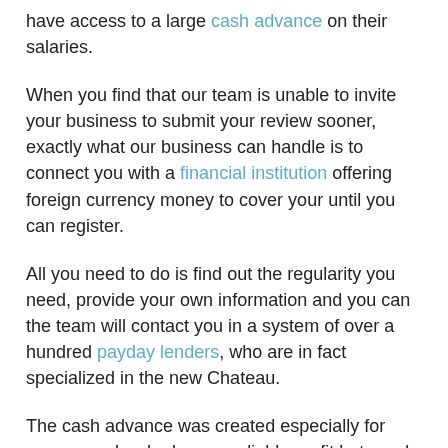have access to a large cash advance on their salaries.
When you find that our team is unable to invite your business to submit your review sooner, exactly what our business can handle is to connect you with a financial institution offering foreign currency money to cover your until you can register.
All you need to do is find out the regularity you need, provide your own information and you can the team will contact you in a system of over a hundred payday lenders, who are in fact specialized in the new Chateau.
The cash advance was created especially for some people who have a reliable profit but need a little breathing room. This is actually the reason why you are actually counted to make the settlement in one lump sum payment, towards or following the next big date you earn (usually a period of about thirty days).